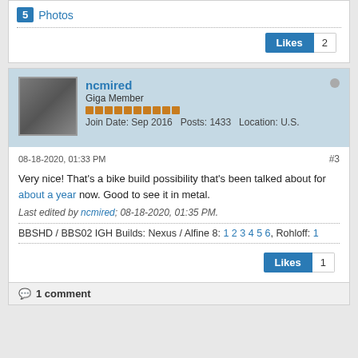5 Photos
Likes 2
ncmired
Giga Member
Join Date: Sep 2016  Posts: 1433  Location: U.S.
08-18-2020, 01:33 PM  #3
Very nice! That's a bike build possibility that's been talked about for about a year now. Good to see it in metal.
Last edited by ncmired; 08-18-2020, 01:35 PM.
BBSHD / BBS02 IGH Builds: Nexus / Alfine 8: 1 2 3 4 5 6, Rohloff: 1
Likes 1
1 comment